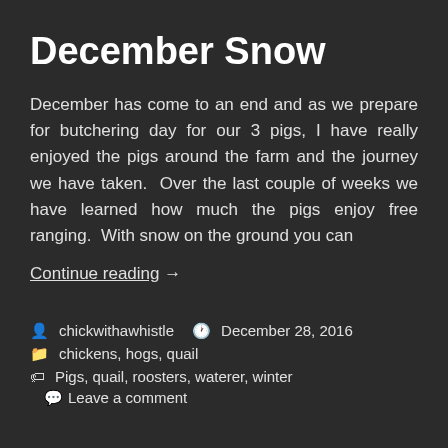December Snow
December has come to an end and as we prepare for butchering day for our 3 pigs, I have really enjoyed the pigs around the farm and the journey we have taken.  Over the last couple of weeks we have learned how much the pigs enjoy free ranging.  With snow on the ground you can
Continue reading  →
chickwithawhistle   December 28, 2016
chickens, hogs, quail
Pigs, quail, roosters, waterer, winter   Leave a comment